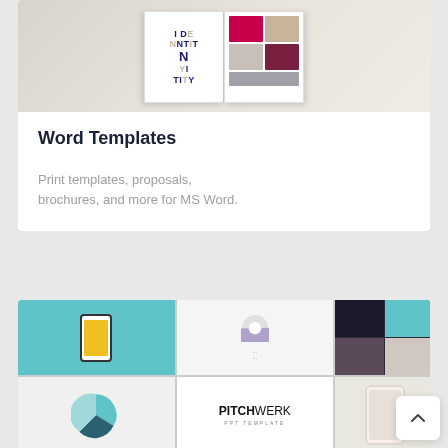[Figure (photo): Open book/brochure showing 'IDENTITY' typography design with colorful letters on left page and color swatches on right page]
Word Templates
Print templates, proposals, brochures, and more for MS Word.
[Figure (screenshot): Collage of presentation slides showing 'PITCHWERK PPT TEMPLATE' branding with teal color scheme, phone mockup, pie chart, and various slide layouts]